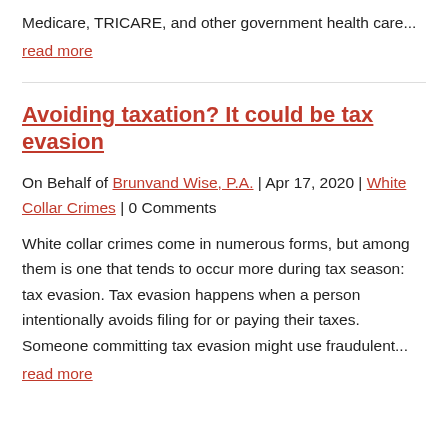Medicare, TRICARE, and other government health care...
read more
Avoiding taxation? It could be tax evasion
On Behalf of Brunvand Wise, P.A. | Apr 17, 2020 | White Collar Crimes | 0 Comments
White collar crimes come in numerous forms, but among them is one that tends to occur more during tax season: tax evasion. Tax evasion happens when a person intentionally avoids filing for or paying their taxes. Someone committing tax evasion might use fraudulent...
read more